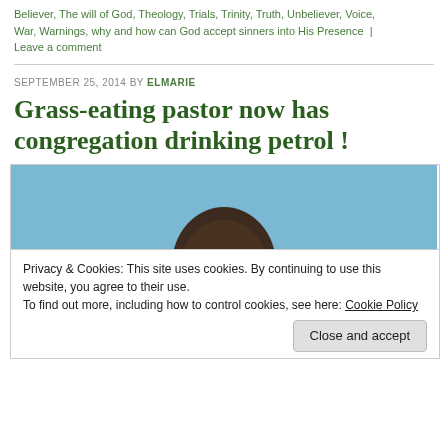Believer, The will of God, Theology, Trials, Trinity, Truth, Unbeliever, Voice, War, Warnings, why and how can God accept sinners into His Presence  |  Leave a comment
SEPTEMBER 25, 2014 BY ELMARIE
Grass-eating pastor now has congregation drinking petrol !
[Figure (photo): Photo of a man in a dark suit against a blue background]
Privacy & Cookies: This site uses cookies. By continuing to use this website, you agree to their use.
To find out more, including how to control cookies, see here: Cookie Policy
Close and accept